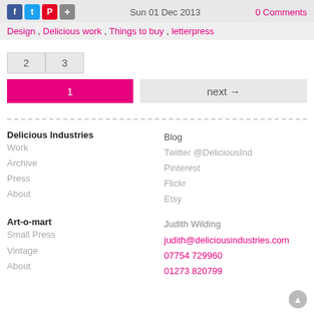Sun 01 Dec 2013 | 0 Comments
Design, Delicious work, Things to buy, letterpress
2   3
1   next →
Delicious Industries  Blog
Work  Twitter @DeliciousInd
Archive  Pinterest
Press  Flickr
About  Etsy
Art-o-mart  Judith Wilding
Small Press  judith@deliciousindustries.com
Vintage  07754 729960
About  01273 820799